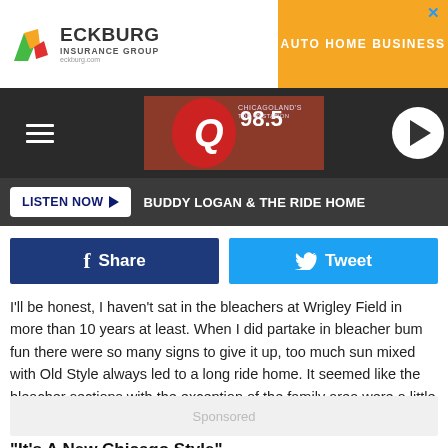[Figure (logo): Eckburg Insurance Group advertisement banner with logo and navigation links AUTO, HOME, BUSINESS on orange background]
[Figure (logo): Q98.5 radio station header with hamburger menu, station logo, and play button]
LISTEN NOW ▶  BUDDY LOGAN & THE RIDE HOME
[Figure (infographic): Facebook Share and Twitter Tweet social sharing buttons]
I'll be honest, I haven't sat in the bleachers at Wrigley Field in more than 10 years at least. When I did partake in bleacher bum fun there were so many signs to give it up, too much sun mixed with Old Style always led to a long ride home. It seemed like the bleacher sections with the exception of the family area were a little too much crazy for me.
Sponsored
"It's A New Chicago Style"